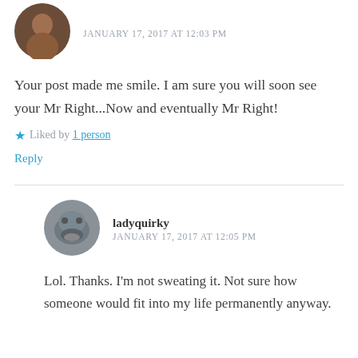[Figure (photo): Circular avatar of a person, brownish tones]
JANUARY 17, 2017 AT 12:03 PM
Your post made me smile. I am sure you will soon see your Mr Right...Now and eventually Mr Right!
★ Liked by 1 person
Reply
[Figure (photo): Circular avatar of a bulldog/dog, grey tones]
ladyquirky
JANUARY 17, 2017 AT 12:05 PM
Lol. Thanks. I'm not sweating it. Not sure how someone would fit into my life permanently anyway.